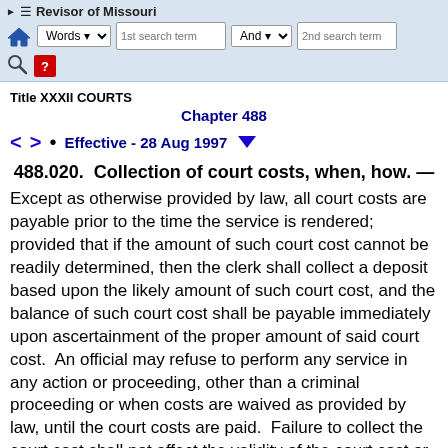Revisor of Missouri — navigation header with search controls
Title XXXII COURTS
Chapter 488
Effective - 28 Aug 1997
488.020. Collection of court costs, when, how. —
Except as otherwise provided by law, all court costs are payable prior to the time the service is rendered; provided that if the amount of such court cost cannot be readily determined, then the clerk shall collect a deposit based upon the likely amount of such court cost, and the balance of such court cost shall be payable immediately upon ascertainment of the proper amount of said court cost. An official may refuse to perform any service in any action or proceeding, other than a criminal proceeding or when costs are waived as provided by law, until the court costs are paid. Failure to collect the court cost shall not affect the validity of the court cost or service. The supreme court may provide by rule for imposition of interest on